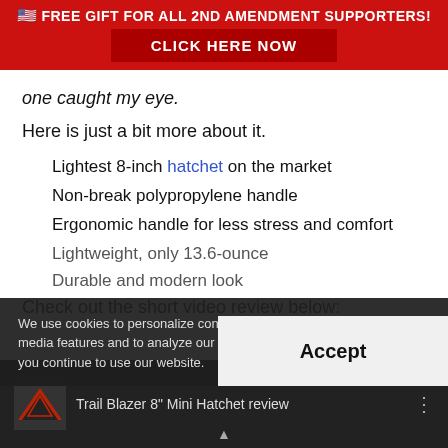🇺🇸 FREE GIFT FOR ALL 2ND AMENDMENT SUPPORTERS! CLICK HERE NOW
one caught my eye.
Here is just a bit more about it.
Lightest 8-inch hatchet on the market
Non-break polypropylene handle
Ergonomic handle for less stress and comfort
Lightweight, only 13.6-ounce
Durable and modern look
Check out the short video review below:
[Figure (screenshot): Video thumbnail showing Trail Blazer 8" Mini Hatchet review with dark background and mountain logo]
We use cookies to personalize content and ads, to provide social media features and to analyze our traffic. You consent to our cookies if you continue to use our website.